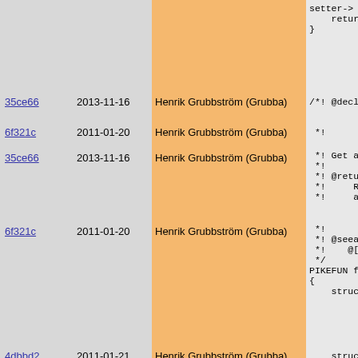setter->
    return res
}
| hash | date | author | code |
| --- | --- | --- | --- |
| 35ce66 | 2013-11-16 | Henrik Grubbström (Grubba) | /*! @decl fu |
| 6f321c | 2011-01-20 | Henrik Grubbström (Grubba) | *! |
| 35ce66 | 2013-11-16 | Henrik Grubbström (Grubba) | *! Get a se
*!
*! @returns
*!     Returr
*!     and @e |
| 6f321c | 2011-01-20 | Henrik Grubbström (Grubba) | *!
*! @seealso
*!    @[obje
*/
PIKEFUN func
{
    struct pr |
| 4dbbd2 | 2011-01-21 | Henrik Grubbström (Grubba) | struct inh |
| 6f321c | 2011-01-20 | Henrik Grubbström (Grubba) | int f;
if (!(p =
  Pike_er
} |
| 017b57 | 2011-10-28 | Henrik Grubbström (Grubba) | inh = p->i |
| 4dbbd2 | 2011-01-21 | Henrik Grubbström (Grubba) | p = inh->p |